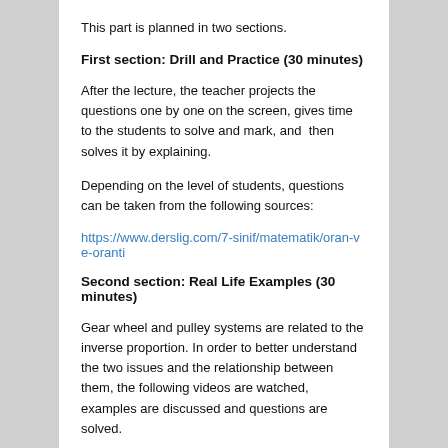This part is planned in two sections.
First section: Drill and Practice (30 minutes)
After the lecture, the teacher projects the questions one by one on the screen, gives time to the students to solve and mark, and  then solves it by explaining.
Depending on the level of students, questions can be taken from the following sources:
https://www.derslig.com/7-sinif/matematik/oran-ve-oranti
Second section: Real Life Examples (30 minutes)
Gear wheel and pulley systems are related to the inverse proportion. In order to better understand the two issues and the relationship between them, the following videos are watched, examples are discussed and questions are solved.